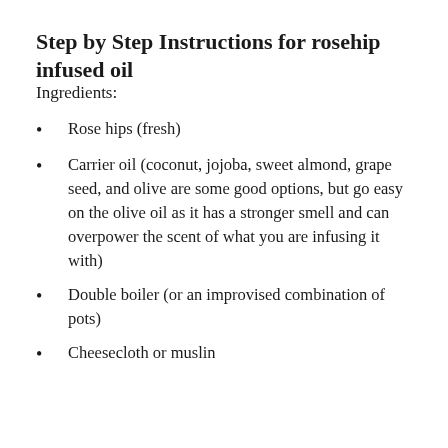Step by Step Instructions for rosehip infused oil
Ingredients:
Rose hips (fresh)
Carrier oil (coconut, jojoba, sweet almond, grape seed, and olive are some good options, but go easy on the olive oil as it has a stronger smell and can overpower the scent of what you are infusing it with)
Double boiler (or an improvised combination of pots)
Cheesecloth or muslin